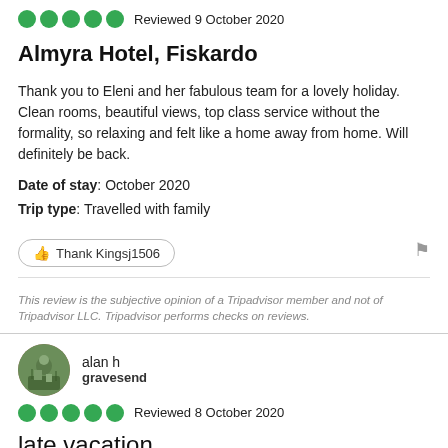[Figure (other): Five green circle star rating dots with 'Reviewed 9 October 2020' text]
Almyra Hotel, Fiskardo
Thank you to Eleni and her fabulous team for a lovely holiday. Clean rooms, beautiful views, top class service without the formality, so relaxing and felt like a home away from home. Will definitely be back.
Date of stay: October 2020
Trip type: Travelled with family
Thank Kingsj1506
This review is the subjective opinion of a Tripadvisor member and not of Tripadvisor LLC. Tripadvisor performs checks on reviews.
[Figure (photo): Circular avatar photo of alan h reviewer]
alan h
gravesend
[Figure (other): Five green circle star rating dots with 'Reviewed 8 October 2020' text]
late vacation
an excellent hotel,wonderfull staff headed by elina nothing was too much trouble, clean tidy every where, food excellent staff very attentive we will return we where